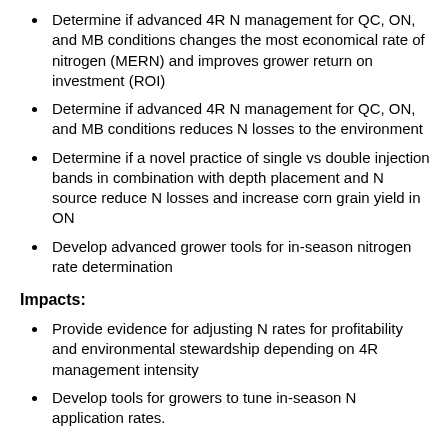Determine if advanced 4R N management for QC, ON, and MB conditions changes the most economical rate of nitrogen (MERN) and improves grower return on investment (ROI)
Determine if advanced 4R N management for QC, ON, and MB conditions reduces N losses to the environment
Determine if a novel practice of single vs double injection bands in combination with depth placement and N source reduce N losses and increase corn grain yield in ON
Develop advanced grower tools for in-season nitrogen rate determination
Impacts:
Provide evidence for adjusting N rates for profitability and environmental stewardship depending on 4R management intensity
Develop tools for growers to tune in-season N application rates.